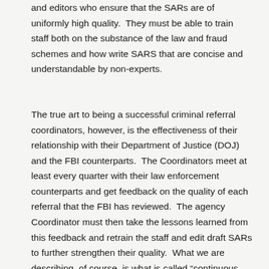and editors who ensure that the SARs are of uniformly high quality.  They must be able to train staff both on the substance of the law and fraud schemes and how write SARS that are concise and understandable by non-experts.
The true art to being a successful criminal referral coordinators, however, is the effectiveness of their relationship with their Department of Justice (DOJ) and the FBI counterparts.  The Coordinators meet at least every quarter with their law enforcement counterparts and get feedback on the quality of each referral that the FBI has reviewed.  The agency Coordinator must then take the lessons learned from this feedback and retrain the staff and edit draft SARs to further strengthen their quality.  What we are describing, of course, is what is called “continuous improvement” in the management literature